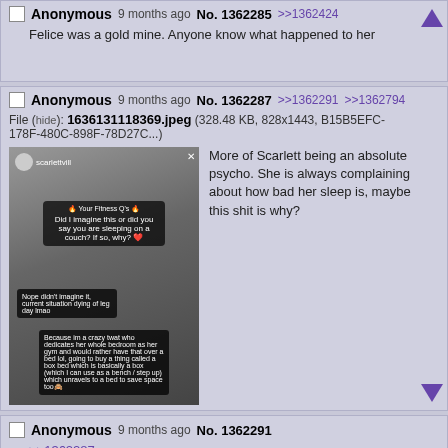Anonymous 9 months ago No. 1362285 >>1362424
Felice was a gold mine. Anyone know what happened to her
Anonymous 9 months ago No. 1362287 >>1362291 >>1362794
File (hide): 1636131118369.jpeg (328.48 KB, 828x1443, B15B5EFC-178F-480C-898F-78D27C...)
More of Scarlett being an absolute psycho. She is always complaining about how bad her sleep is, maybe this shit is why?
[Figure (photo): Photo of a gym room with dumbbells on the floor, with overlaid chat/story bubbles discussing sleeping on a couch and converting a bedroom to a gym]
Anonymous 9 months ago No. 1362291
>>1362287